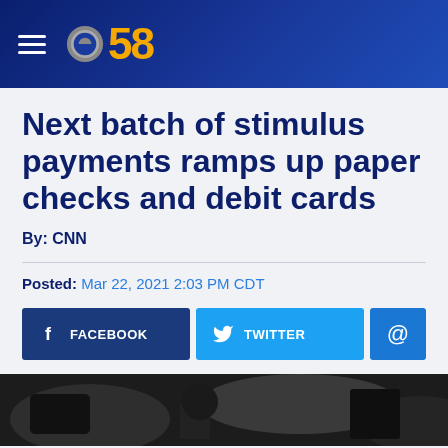CBS 58
Next batch of stimulus payments ramps up paper checks and debit cards
By: CNN
Posted: Mar 22, 2021 2:03 PM CDT
[Figure (screenshot): Social media sharing buttons: Facebook, Twitter, and email]
[Figure (photo): Dark partially visible photo at bottom of page]